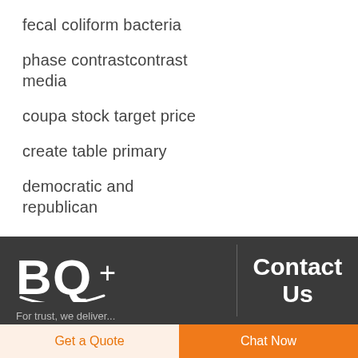fecal coliform bacteria
phase contrastcontrast media
coupa stock target price
create table primary
democratic and republican
[Figure (logo): BQ+ logo in white on dark background]
Contact Us
Get a Quote
Chat Now